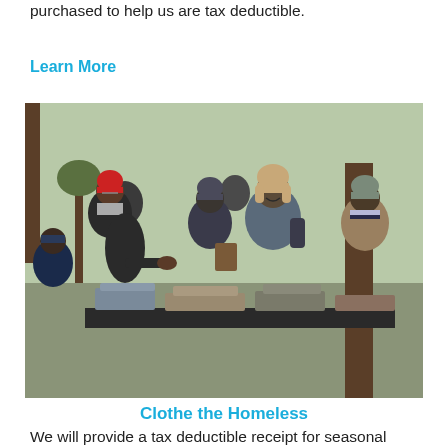purchased to help us are tax deductible.
Learn More
[Figure (photo): Outdoor scene showing people at a clothing distribution event in a park. Several people wearing winter hats and coats are gathered around a table covered with folded clothing items. A person in a red beanie hat is interacting with others.]
Clothe the Homeless
We will provide a tax deductible receipt for seasonal